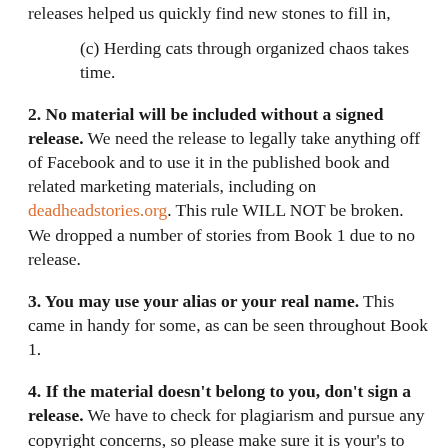releases helped us quickly find new stones to fill in,
(c) Herding cats through organized chaos takes time.
2. No material will be included without a signed release. We need the release to legally take anything off of Facebook and to use it in the published book and related marketing materials, including on deadheadstories.org. This rule WILL NOT be broken. We dropped a number of stories from Book 1 due to no release.
3. You may use your alias or your real name. This came in handy for some, as can be seen throughout Book 1.
4. If the material doesn't belong to you, don't sign a release. We have to check for plagiarism and pursue any copyright concerns, so please make sure it is your's to release.